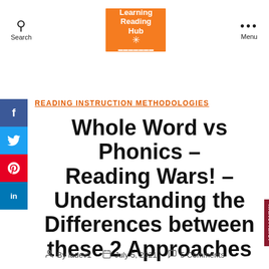Search | Learning Reading Hub | Menu
READING INSTRUCTION METHODOLOGIES
Whole Word vs Phonics – Reading Wars! – Understanding the Differences between these 2 Approaches
By ladev1  July 5, 2021  5 Comments